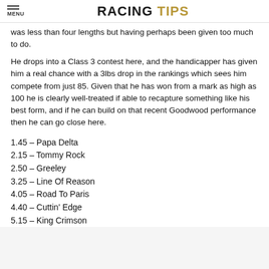MENU | RACING TIPS
was less than four lengths but having perhaps been given too much to do.
He drops into a Class 3 contest here, and the handicapper has given him a real chance with a 3lbs drop in the rankings which sees him compete from just 85. Given that he has won from a mark as high as 100 he is clearly well-treated if able to recapture something like his best form, and if he can build on that recent Goodwood performance then he can go close here.
1.45 – Papa Delta
2.15 – Tommy Rock
2.50 – Greeley
3.25 – Line Of Reason
4.05 – Road To Paris
4.40 – Cuttin' Edge
5.15 – King Crimson